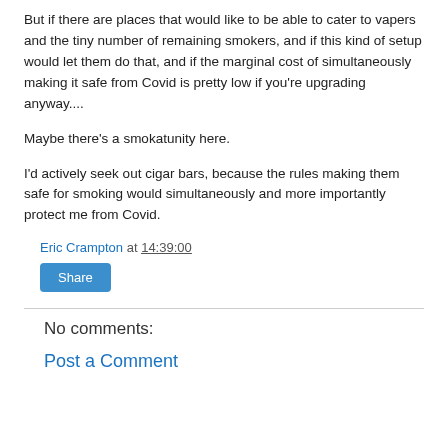But if there are places that would like to be able to cater to vapers and the tiny number of remaining smokers, and if this kind of setup would let them do that, and if the marginal cost of simultaneously making it safe from Covid is pretty low if you're upgrading anyway....
Maybe there's a smokatunity here.
I'd actively seek out cigar bars, because the rules making them safe for smoking would simultaneously and more importantly protect me from Covid.
Eric Crampton at 14:39:00
Share
No comments:
Post a Comment